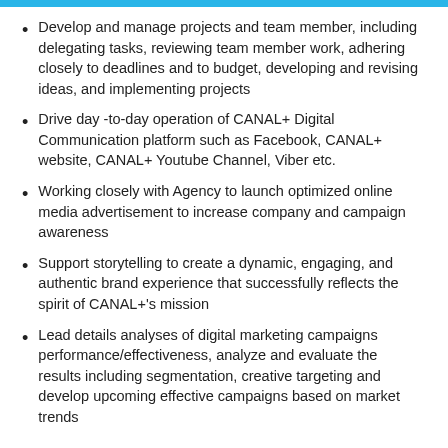Develop and manage projects and team member, including delegating tasks, reviewing team member work, adhering closely to deadlines and to budget, developing and revising ideas, and implementing projects
Drive day -to-day operation of CANAL+ Digital Communication platform such as Facebook, CANAL+ website, CANAL+ Youtube Channel, Viber etc.
Working closely with Agency to launch optimized online media advertisement to increase company and campaign awareness
Support storytelling to create a dynamic, engaging, and authentic brand experience that successfully reflects the spirit of CANAL+'s mission
Lead details analyses of digital marketing campaigns performance/effectiveness, analyze and evaluate the results including segmentation, creative targeting and develop upcoming effective campaigns based on market trends